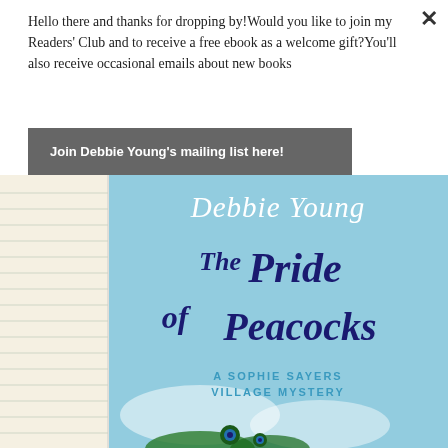Hello there and thanks for dropping by!Would you like to join my Readers' Club and to receive a free ebook as a welcome gift?You'll also receive occasional emails about new books
Join Debbie Young's mailing list here!
[Figure (photo): Book cover for 'The Pride of Peacocks' by Debbie Young, A Sophie Sayers Village Mystery. Blue sky background with author name in white serif italic, title in dark navy script/italic font, and subtitle in teal caps. Lined notebook paper visible on left side. Peacock feathers visible at bottom.]